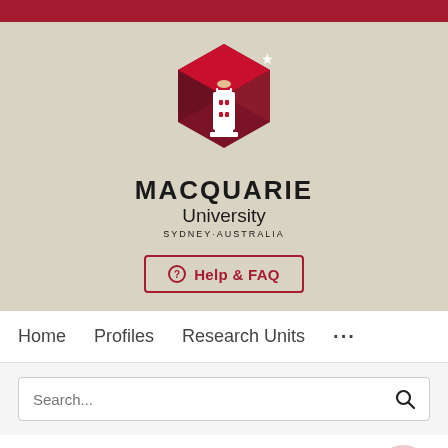[Figure (logo): Macquarie University logo with lighthouse and geometric shapes, red/dark-red hexagonal design]
MACQUARIE University SYDNEY·AUSTRALIA
⊕ Help & FAQ
Home   Profiles   Research Units   ...
Search...
The effects of three dimensions of trustworthiness and other